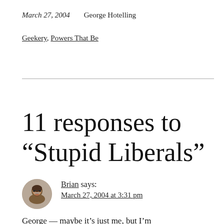March 27, 2004    George Hotelling
Geekery, Powers That Be
11 responses to “Stupid Liberals”
Brian says:
March 27, 2004 at 3:31 pm
George — maybe it’s just me, but I’m